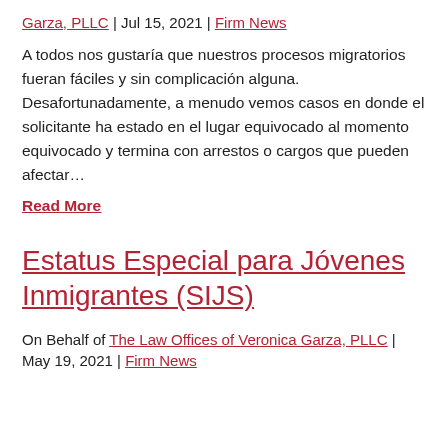Garza, PLLC | Jul 15, 2021 | Firm News
A todos nos gustaría que nuestros procesos migratorios fueran fáciles y sin complicación alguna. Desafortunadamente, a menudo vemos casos en donde el solicitante ha estado en el lugar equivocado al momento equivocado y termina con arrestos o cargos que pueden afectar…
Read More
Estatus Especial para Jóvenes Inmigrantes (SIJS)
On Behalf of The Law Offices of Veronica Garza, PLLC | May 19, 2021 | Firm News